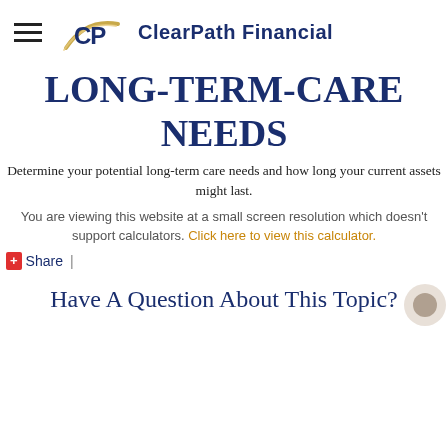ClearPath Financial
LONG-TERM-CARE NEEDS
Determine your potential long-term care needs and how long your current assets might last.
You are viewing this website at a small screen resolution which doesn't support calculators. Click here to view this calculator.
+ Share |
Have A Question About This Topic?